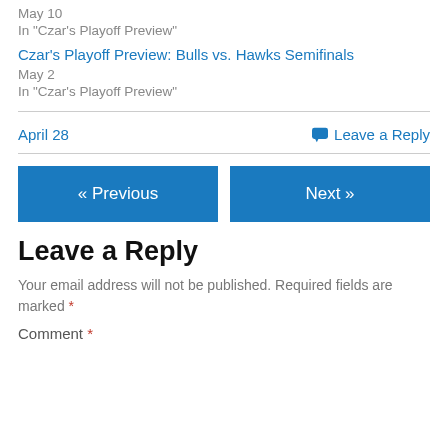May 10
In "Czar's Playoff Preview"
Czar's Playoff Preview: Bulls vs. Hawks Semifinals
May 2
In "Czar's Playoff Preview"
April 28
💬 Leave a Reply
« Previous
Next »
Leave a Reply
Your email address will not be published. Required fields are marked *
Comment *